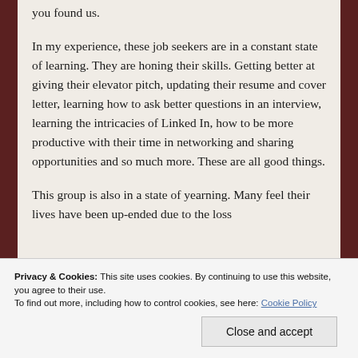you found us.
In my experience, these job seekers are in a constant state of learning.  They are honing their skills.  Getting better at giving their elevator pitch, updating their resume and cover letter, learning how to ask better questions in an interview, learning the intricacies of Linked In, how to be more productive with their time in networking and sharing opportunities and so much more.  These are all good things.
This group is also in a state of yearning.  Many feel their lives have been up-ended due to the loss
Privacy & Cookies: This site uses cookies. By continuing to use this website, you agree to their use.
To find out more, including how to control cookies, see here: Cookie Policy
Close and accept